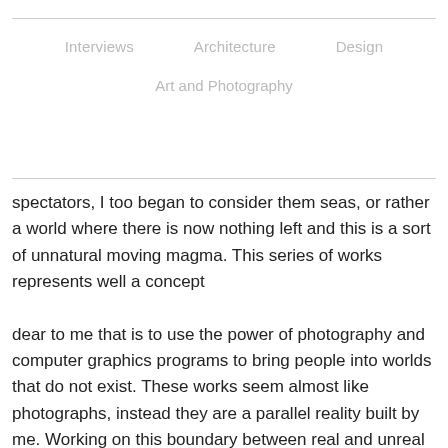Interviews   Architecture   Design   Art and Photography
spectators, I too began to consider them seas, or rather a world where there is now nothing left and this is a sort of unnatural moving magma. This series of works represents well a concept

dear to me that is to use the power of photography and computer graphics programs to bring people into worlds that do not exist. These works seem almost like photographs, instead they are a parallel reality built by me. Working on this boundary between real and unreal